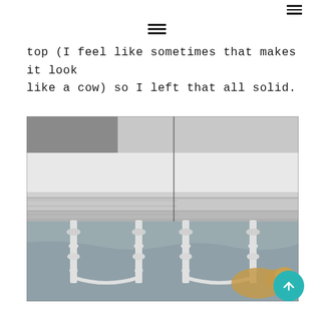≡ (hamburger menu icon, top right)
≡ (hamburger menu icon, center)
top (I feel like sometimes that makes it look like a cow) so I left that all solid.
[Figure (photo): A white painted dining table with turned legs shown from a low angle. The table top and apron are painted solid white with visible distressing/grain texture. A dog is visible resting under the table on a gray drop cloth. The image appears split showing before/after or two angles.]